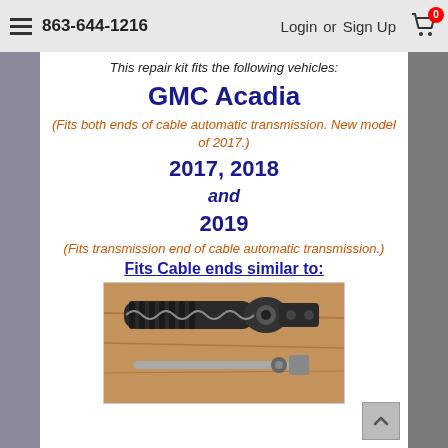863-644-1216  Login or Sign Up
This repair kit fits the following vehicles:
GMC Acadia
(Fits both ends of cable automatic transmission. New model of 2017.)
2017, 2018
and
2019
(Fits transmission end of cable automatic transmission.)
Fits Cable ends similar to:
[Figure (photo): Photo of a transmission cable end repair kit showing a cable end with accordion boot and a metal rod with end fitting, placed on a wooden surface]